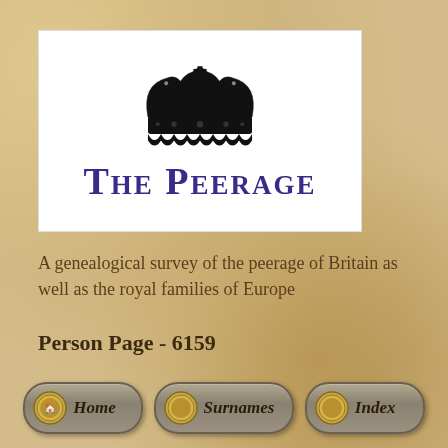[Figure (logo): The Peerage logo: black heraldic crown above the text 'THE PEERAGE' in large purple small-caps serif font, on a white background.]
A genealogical survey of the peerage of Britain as well as the royal families of Europe
Person Page - 6159
[Figure (other): Navigation bar with three buttons: Home, Surnames, Index. Each button has a decorative gold coin/seal icon on the left and grey pill-shaped background.]